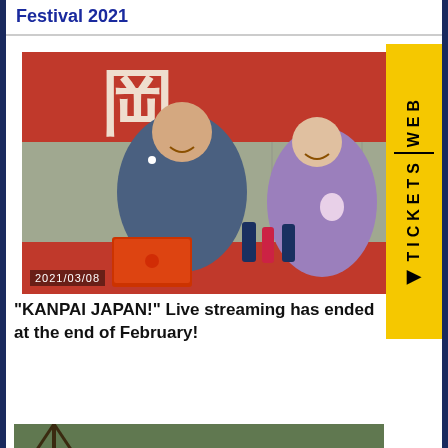Festival 2021
[Figure (photo): Two people in Japanese traditional clothing (kimono/yukata) sitting at a table with drinks and a laptop, laughing, with a red Japanese banner/noren in the background. Date stamp: 2021/03/08]
“KANPAI JAPAN!” Live streaming has ended at the end of February!
[Figure (photo): Partial view of an outdoor Japanese event setup, bottom strip of the page]